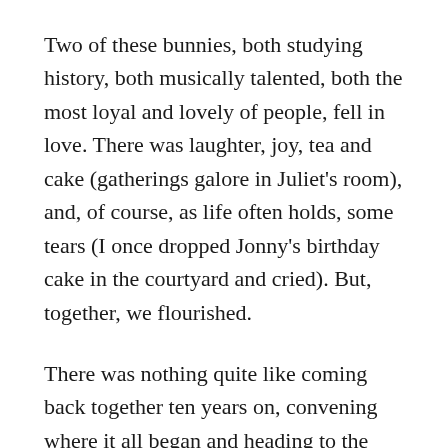Two of these bunnies, both studying history, both musically talented, both the most loyal and lovely of people, fell in love. There was laughter, joy, tea and cake (gatherings galore in Juliet's room), and, of course, as life often holds, some tears (I once dropped Jonny's birthday cake in the courtyard and cried). But, together, we flourished.
There was nothing quite like coming back together ten years on, convening where it all began and heading to the chapel to see these two bunnies take their vows.
Vows are a solemn affair, but life is full of lightness, and that was the overriding emphasis I took from the day. The world can be cruel, but it is worthwhile. Life can be spiteful, but it can be beautiful. It's proven